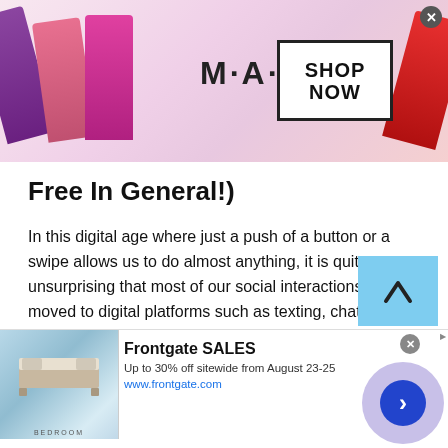[Figure (screenshot): MAC cosmetics advertisement banner showing lipsticks in purple, pink, hot pink, and red colors, MAC logo, and a 'SHOP NOW' box with border, and a close button.]
Free In General!)
In this digital age where just a push of a button or a swipe allows us to do almost anything, it is quite unsurprising that most of our social interactions have moved to digital platforms such as texting, chatting, or video calling. People who crave connection can log onto Talkwithstranger, a site for Angolan Flirt for Free whenever, and wherever they want.
The platform brings tremendous advantages to its users
[Figure (screenshot): Frontgate SALES advertisement: bedroom image on left, text 'Frontgate SALES - Up to 30% off sitewide from August 23-25 - www.frontgate.com', circular arrow button on right, close button, adchoices icon.]